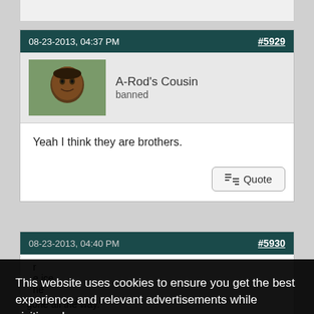08-23-2013, 04:37 PM
#5929
A-Rod's Cousin
banned
Yeah I think they are brothers.
Quote
#5930
This website uses cookies to ensure you get the best experience and relevant advertisements while visiting. Learn more
Got it!
gone all the way.